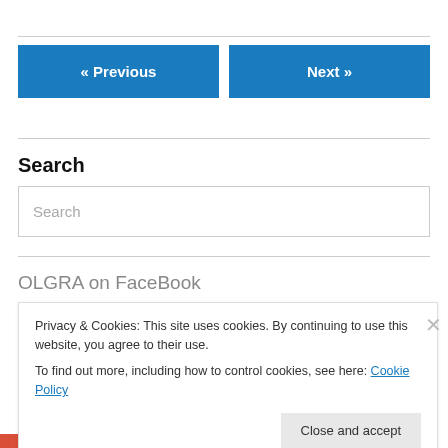[Figure (screenshot): Navigation buttons: « Previous (blue) and Next » (blue)]
Search
Search (search input placeholder)
OLGRA on FaceBook
Privacy & Cookies: This site uses cookies. By continuing to use this website, you agree to their use.
To find out more, including how to control cookies, see here: Cookie Policy
Close and accept